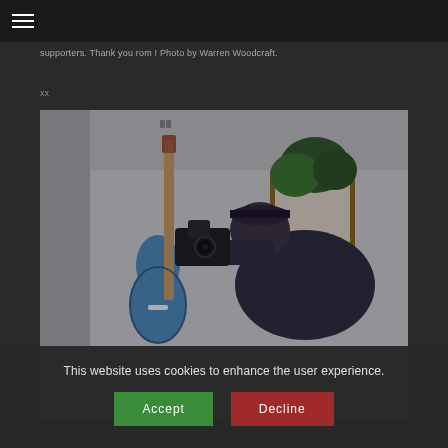≡ (hamburger menu)
supporters. Thank you rom ! Photo by Warren Woodcraft.
xx
[Figure (photo): A person bending forward holding a camera up to their face, photographing. Behind them is a blue Fender-style bass guitar on a stand, green plants, and a wooden-framed artwork or mirror, all in a light-colored indoor room.]
This website uses cookies to enhance the user experience.
Accept
Decline